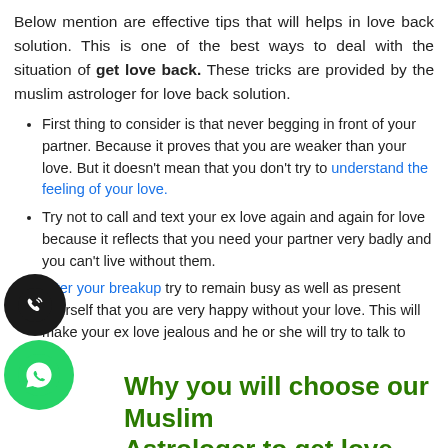Below mention are effective tips that will helps in love back solution. This is one of the best ways to deal with the situation of get love back. These tricks are provided by the muslim astrologer for love back solution.
First thing to consider is that never begging in front of your partner. Because it proves that you are weaker than your love. But it doesn't mean that you don't try to understand the feeling of your love.
Try not to call and text your ex love again and again for love because it reflects that you need your partner very badly and you can't live without them.
After your breakup try to remain busy as well as present yourself that you are very happy without your love. This will make your ex love jealous and he or she will try to talk to you.
Why you will choose our Muslim Astrologer to get love back?
World famous muslim astrologer has wide knowledge